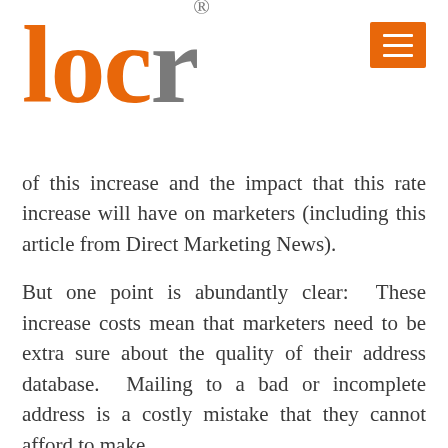locr®
of this increase and the impact that this rate increase will have on marketers (including this article from Direct Marketing News).
But one point is abundantly clear: These increase costs mean that marketers need to be extra sure about the quality of their address database. Mailing to a bad or incomplete address is a costly mistake that they cannot afford to make.
For help, many marketers are using Geo-Information services like locr's. Our Geo-Information Services can ensure that the